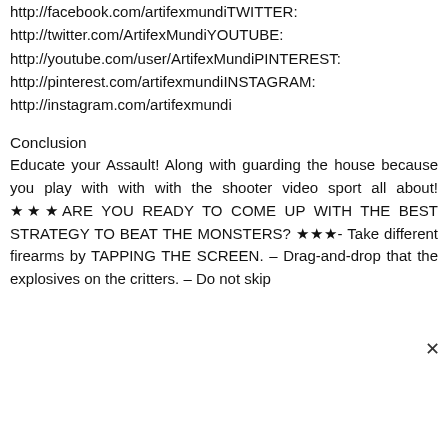http://facebook.com/artifexmundiTWITTER:
http://twitter.com/ArtifexMundiYOUTUBE:
http://youtube.com/user/ArtifexMundiPINTEREST:
http://pinterest.com/artifexmundiINSTAGRAM:
http://instagram.com/artifexmundi
Conclusion
Educate your Assault! Along with guarding the house because you play with with with the shooter video sport all about! ★★★ARE YOU READY TO COME UP WITH THE BEST STRATEGY TO BEAT THE MONSTERS? ★★★- Take different firearms by TAPPING THE SCREEN. – Drag-and-drop that the explosives on the critters. – Do not skip